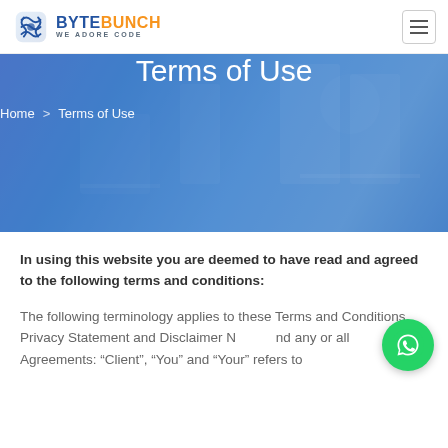BYTEBUNCH WE ADORE CODE
Terms of Use
Home > Terms of Use
In using this website you are deemed to have read and agreed to the following terms and conditions:
The following terminology applies to these Terms and Conditions, Privacy Statement and Disclaimer Notice and any or all Agreements: "Client", "You" and "Your" refers to